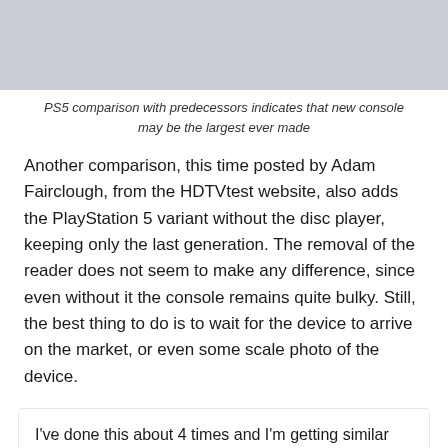[Figure (photo): Gray placeholder image at top of page]
PS5 comparison with predecessors indicates that new console may be the largest ever made
Another comparison, this time posted by Adam Fairclough, from the HDTVtest website, also adds the PlayStation 5 variant without the disc player, keeping only the last generation. The removal of the reader does not seem to make any difference, since even without it the console remains quite bulky. Still, the best thing to do is to wait for the device to arrive on the market, or even some scale photo of the device.
I've done this about 4 times and I'm getting similar results. pic.twitter.com/4lWxdhaoKq
— EvilBoris HDR (@EvilBoris) June 11, 2020